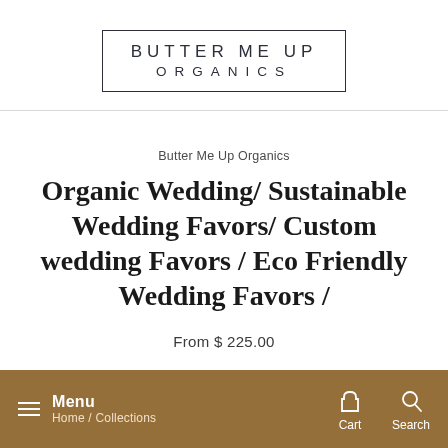[Figure (logo): Butter Me Up Organics logo: text in a rectangle border, two lines reading BUTTER ME UP and ORGANICS with wide letter-spacing]
Butter Me Up Organics
Organic Wedding/ Sustainable Wedding Favors/ Custom wedding Favors / Eco Friendly Wedding Favors /
From $ 225.00
Menu  Home / Collections  Cart  Search